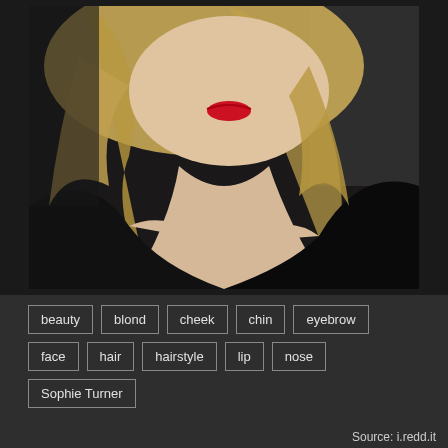[Figure (photo): Close-up portrait photo of a woman with blonde hair, red lipstick, wearing a black low-cut top, photographed from above against a dark background.]
beauty
blond
cheek
chin
eyebrow
face
hair
hairstyle
lip
nose
Sophie Turner
Source: i.redd.it